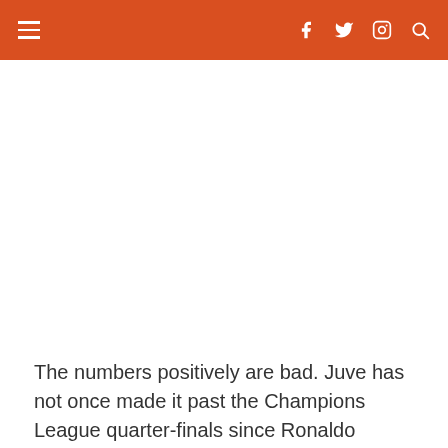Navigation bar with hamburger menu and social icons (Facebook, Twitter, Instagram, Search)
[Figure (photo): Large white/blank image area below navigation bar]
The numbers positively are bad. Juve has not once made it past the Champions League quarter-finals since Ronaldo marked and is presently feeling the